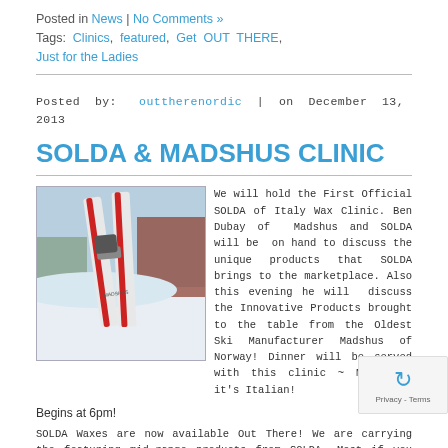Posted in News | No Comments »
Tags: Clinics, featured, Get OUT THERE, Just for the Ladies
Posted by: outtherenordic | on December 13, 2013
SOLDA & MADSHUS CLINIC
[Figure (photo): Photo of Madshus cross-country skis in the snow, red and white skis standing upright]
We will hold the First Official SOLDA of Italy Wax Clinic. Ben Dubay of Madshus and SOLDA will be on hand to discuss the unique products that SOLDA brings to the marketplace. Also this evening he will discuss the Innovative Products brought to the table from the Oldest Ski Manufacturer Madshus of Norway! Dinner will be served with this clinic ~ Mama Mia it's Italian!
Begins at 6pm!
SOLDA Waxes are now available Out There! We are carrying the featuring mid-range products from SOLDA. Most if you are looking f...